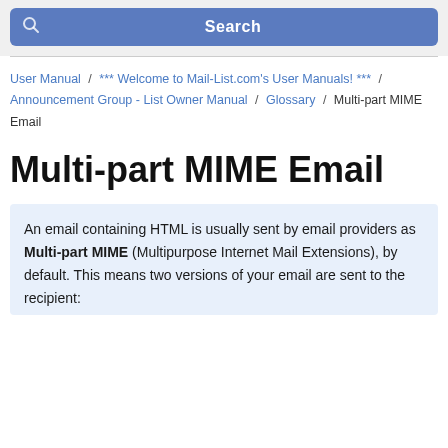[Figure (screenshot): Search bar with blue background and search icon on left, 'Search' text centered in white bold]
User Manual / *** Welcome to Mail-List.com's User Manuals! *** / Announcement Group - List Owner Manual / Glossary / Multi-part MIME Email
Multi-part MIME Email
An email containing HTML is usually sent by email providers as Multi-part MIME (Multipurpose Internet Mail Extensions), by default. This means two versions of your email are sent to the recipient: